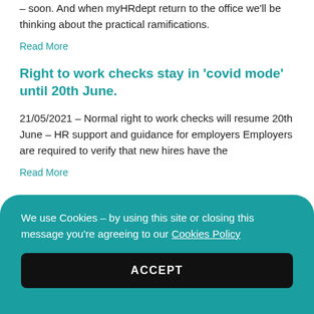– soon. And when myHRdept return to the office we'll be thinking about the practical ramifications.
Read More
Right to work checks stay in 'covid mode' until 20th June.
21/05/2021 – Normal right to work checks will resume 20th June – HR support and guidance for employers Employers are required to verify that new hires have the
Read More
Is our obsession with mental health harming those who really need help?
We use Cookies – by using this site or closing this message you're agreeing to our Cookies Policy
ACCEPT